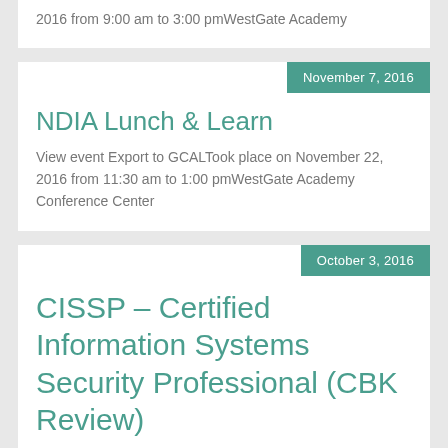2016 from 9:00 am to 3:00 pmWestGate Academy
NDIA Lunch & Learn
November 7, 2016
View event Export to GCALTook place on November 22, 2016 from 11:30 am to 1:00 pmWestGate Academy Conference Center
CISSP – Certified Information Systems Security Professional (CBK Review)
October 3, 2016